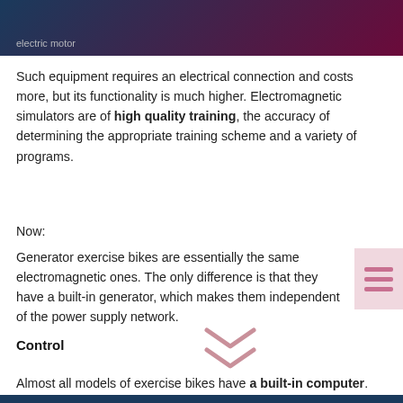electric motor
Such equipment requires an electrical connection and costs more, but its functionality is much higher. Electromagnetic simulators are of high quality training, the accuracy of determining the appropriate training scheme and a variety of programs.
Now:
Generator exercise bikes are essentially the same electromagnetic ones. The only difference is that they have a built-in generator, which makes them independent of the power supply network.
Control
Almost all models of exercise bikes have a built-in computer.